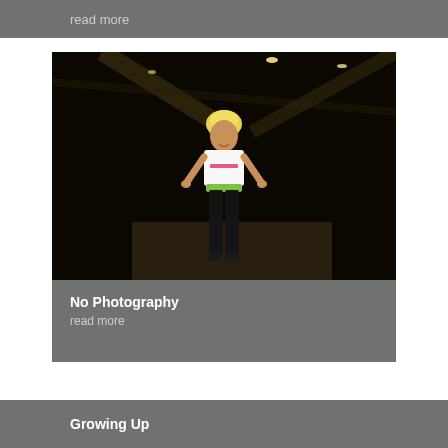read more
[Figure (photo): Young person with blonde hair styled up, wearing a white t-shirt with text, green waistband, dark pants, and dark sneakers, posing confidently with hands on hips in a dark indoor space]
No Photography
read more
Growing Up